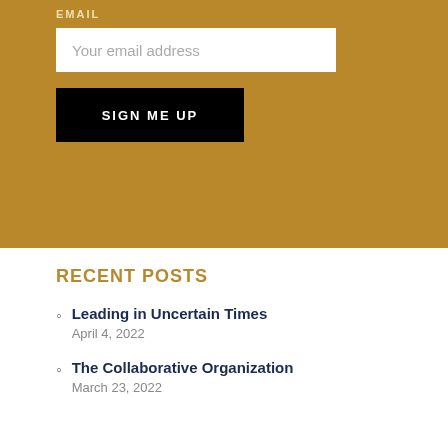EMAIL
[Figure (screenshot): Email input field with placeholder text 'Your email address' on a gold background]
[Figure (screenshot): Black 'SIGN ME UP' button on gold background]
RECENT POSTS
Leading in Uncertain Times
April 4, 2022
The Collaborative Organization
March 23, 2022